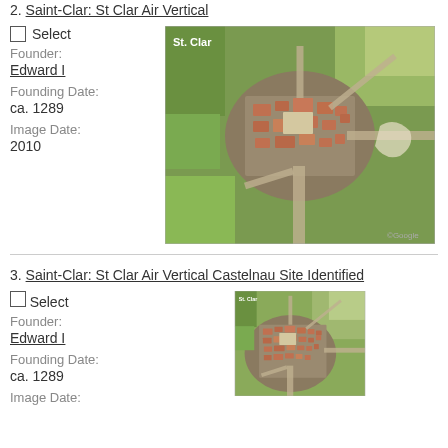2. Saint-Clar: St Clar Air Vertical
☐ Select
Founder: Edward I
Founding Date: ca. 1289
Image Date: 2010
[Figure (photo): Aerial satellite photograph of St. Clar, a medieval bastide town in France, showing grid street layout surrounded by green fields. Google Maps satellite image from 2010. Label 'St. Clar' in white text.]
3. Saint-Clar: St Clar Air Vertical Castelnau Site Identified
☐ Select
Founder: Edward I
Founding Date: ca. 1289
Image Date:
[Figure (photo): Aerial satellite photograph of St. Clar (cropped/zoomed in), showing the medieval town center and surrounding green fields. Label 'St. Clar' in white text at top left.]